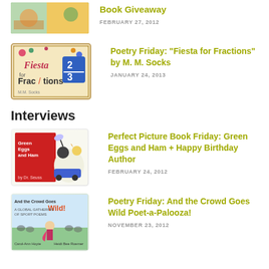[Figure (illustration): Book cover thumbnail at top, partially visible]
…oo…y…p… Book Giveaway
FEBRUARY 27, 2012
[Figure (illustration): Fiesta for Fractions book cover with fraction 2/3]
Poetry Friday: “Fiesta for Fractions” by M. M. Socks
JANUARY 24, 2013
Interviews
[Figure (illustration): Green Eggs and Ham by Dr. Seuss book cover]
Perfect Picture Book Friday: Green Eggs and Ham + Happy Birthday Author
FEBRUARY 24, 2012
[Figure (illustration): And the Crowd Goes Wild book cover]
Poetry Friday: And the Crowd Goes Wild Poet-a-Palooza!
NOVEMBER 23, 2012